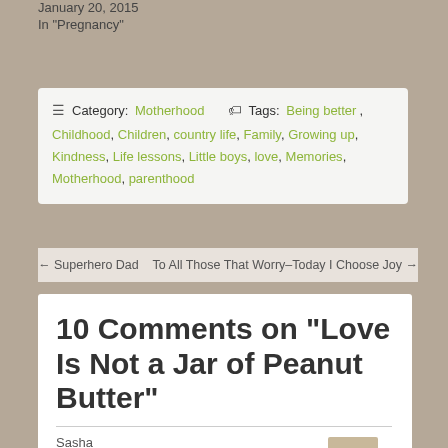January 20, 2015
In "Pregnancy"
Category: Motherhood  Tags: Being better, Childhood, Children, country life, Family, Growing up, Kindness, Life lessons, Little boys, love, Memories, Motherhood, parenthood
← Superhero Dad    To All Those That Worry–Today I Choose Joy →
10 Comments on “Love Is Not a Jar of Peanut Butter”
Sasha